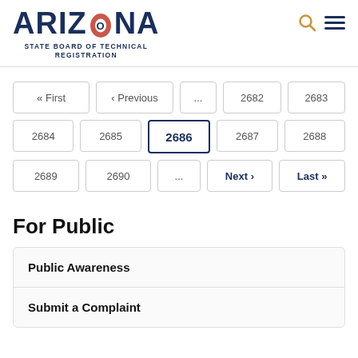ARIZONA STATE BOARD OF TECHNICAL REGISTRATION
« First  ‹ Previous  ...  2682  2683  2684  2685  2686 (current)  2687  2688  2689  2690  ...  Next ›  Last »
For Public
Public Awareness
Submit a Complaint